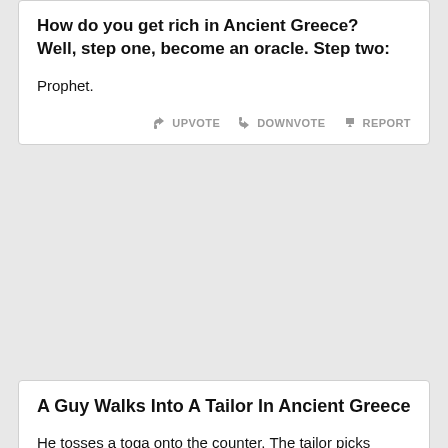How do you get rich in Ancient Greece? Well, step one, become an oracle. Step two:
Prophet.
UPVOTE   DOWNVOTE   REPORT
A Guy Walks Into A Tailor In Ancient Greece
He tosses a toga onto the counter. The tailor picks